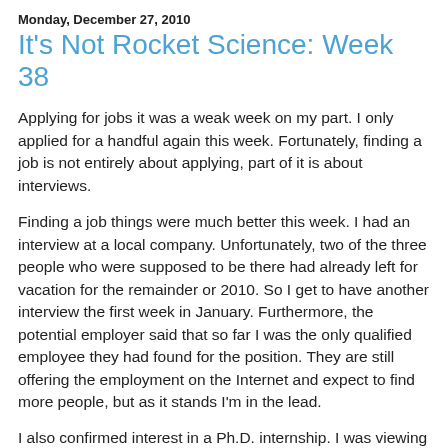Monday, December 27, 2010
It's Not Rocket Science: Week 38
Applying for jobs it was a weak week on my part. I only applied for a handful again this week. Fortunately, finding a job is not entirely about applying, part of it is about interviews.
Finding a job things were much better this week. I had an interview at a local company. Unfortunately, two of the three people who were supposed to be there had already left for vacation for the remainder or 2010. So I get to have another interview the first week in January. Furthermore, the potential employer said that so far I was the only qualified employee they had found for the position. They are still offering the employment on the Internet and expect to find more people, but as it stands I'm in the lead.
I also confirmed interest in a Ph.D. internship. I was viewing getting a Ph.D. as a failure because it means I was not able to find an engineering job. I have more or less gotten over that in part because the stipend from being a graduate